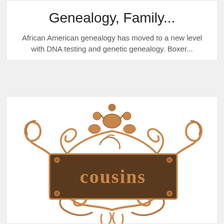Genealogy, Family...
African American genealogy has moved to a new level with DNA testing and genetic genealogy. Boxer...
[Figure (illustration): Ornate bronze/copper decorative sign with scrollwork and flourishes, featuring a rectangular plate with the word 'cousins' embossed in raised metallic letters, topped with decorative figures and swirls, with more scrollwork below.]